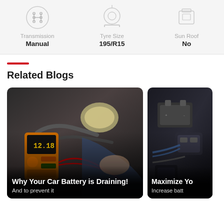[Figure (infographic): Car specs bar showing Transmission (Manual), Tyre Size (195/R15), Sun Roof (No) with icons on light grey background]
Related Blogs
[Figure (photo): Photo of mechanic testing car battery with multimeter showing 12.18V, red wires, under hood. Overlay text: 'Why Your Car Battery is Draining!' and 'And to prevent it']
[Figure (photo): Partially visible photo of car battery/electrical components. Overlay text: 'Maximize Yo...' and 'Increase batt...']